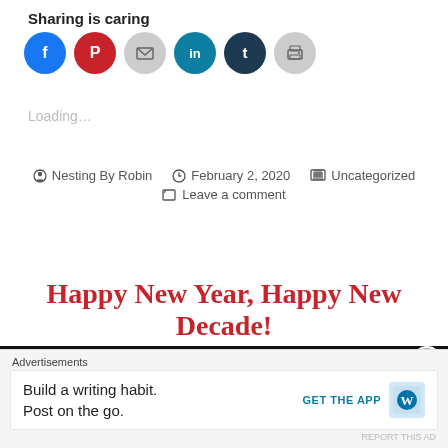Sharing is caring
[Figure (infographic): Social sharing icon buttons: Facebook (blue), Pinterest (red), Email (gray), LinkedIn (teal), Tumblr (dark navy), Print (gray)]
Loading...
Nesting By Robin  February 2, 2020  Uncategorized  Leave a comment
Happy New Year, Happy New Decade!
[Figure (photo): Dark fireworks background image preview strip]
Advertisements
Build a writing habit. Post on the go.
GET THE APP